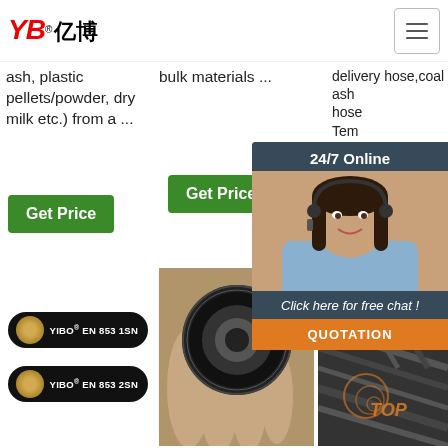YB亿博® [navigation menu button]
ash, plastic pellets/powder, dry milk etc.) from a ...
bulk materials ...
delivery hose,coal ash... hose... Temperature available +10...
Get Price
Get Price
[Figure (infographic): 24/7 Online chat popup with customer service representative photo and QUOTATION button]
Get
[Figure (photo): Two black rubber hydraulic hoses labeled YIBO EN 853 1SN and YIBO EN 853 2SN]
[Figure (photo): Close-up of a hand holding a black rubber hose end showing cross-section]
[Figure (photo): Bundle of black hydraulic hoses with TOP logo watermark]